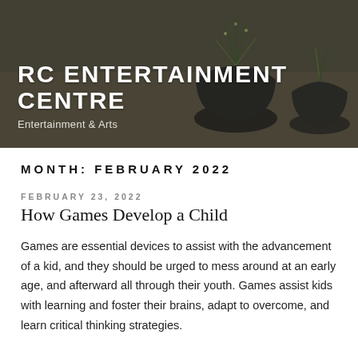[Figure (photo): Header banner with blurred background photo of dark potted plants (succulents/cacti) on a wooden table, with dark overlay. Site title 'RC ENTERTAINMENT CENTRE' and subtitle 'Entertainment & Arts' overlaid in white text.]
RC ENTERTAINMENT CENTRE
Entertainment & Arts
MONTH: FEBRUARY 2022
FEBRUARY 23, 2022
How Games Develop a Child
Games are essential devices to assist with the advancement of a kid, and they should be urged to mess around at an early age, and afterward all through their youth. Games assist kids with learning and foster their brains, adapt to overcome, and learn critical thinking strategies.